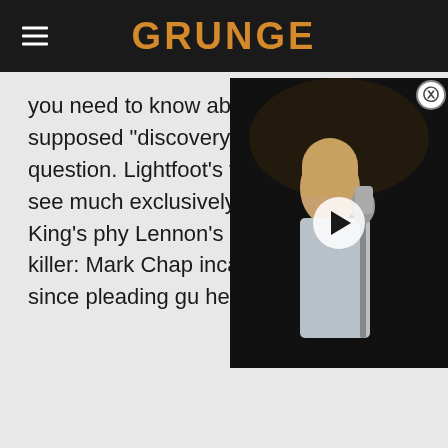GRUNGE
you need to know about the supposed "discovery" in question. Lightfoot's thesis see much exclusively on King's phy Lennon's real killer: Mark Chap incarcerated since pleading gu hearing.
[Figure (photo): Video overlay showing a young person singing into a microphone on a dark stage, with a play button in the center]